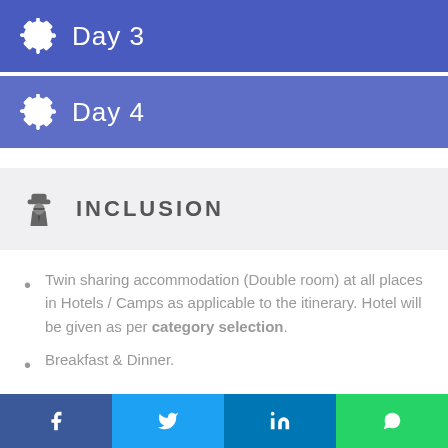Day 3
Day 4
INCLUSION
Twin sharing accommodation (Double room) at all places in Hotels / Camps as applicable to the itinerary. Hotel will be given as per category selection.
Breakfast & Dinner.
AC Vehicle for Pick & drop as per group size from Airport/Railway Station and All Internal